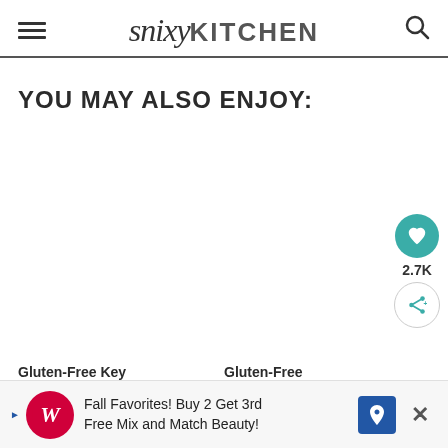snixy KITCHEN
YOU MAY ALSO ENJOY:
Gluten-Free Key
Gluten-Free
[Figure (other): Walgreens advertisement banner: Fall Favorites! Buy 2 Get 3rd Free Mix and Match Beauty!]